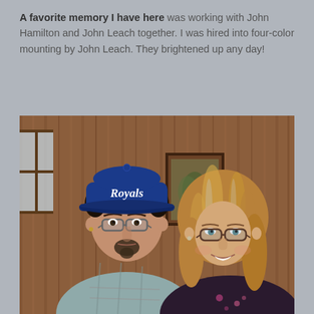A favorite memory I have here was working with John Hamilton and John Leach together. I was hired into four-color mounting by John Leach. They brightened up any day!
[Figure (photo): A man wearing a blue Royals baseball cap and plaid shirt standing next to a woman with glasses and shoulder-length blonde-brown hair, both posing together in front of a wood-paneled wall.]